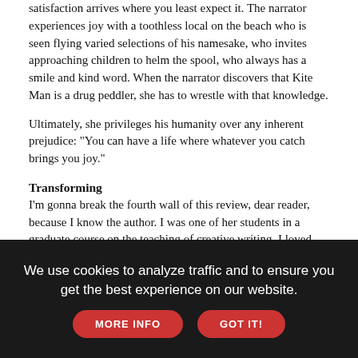satisfaction arrives where you least expect it. The narrator experiences joy with a toothless local on the beach who is seen flying varied selections of his namesake, who invites approaching children to helm the spool, who always has a smile and kind word. When the narrator discovers that Kite Man is a drug peddler, she has to wrestle with that knowledge.
Ultimately, she privileges his humanity over any inherent prejudice: "You can have a life where whatever you catch brings you joy."
Transforming
I'm gonna break the fourth wall of this review, dear reader, because I know the author. I was one of her students in a graduate course on the teaching of creative writing. I loved that class.
Why? Even when I watched her drift off while a fellow student presented on pedagogy-this and curriculum-that, even when her thoughts sailed over the room — perhaps caressing one of those Pacifica characters in her mind or lamenting the vitriol of academic
We use cookies to analyze traffic and to ensure you get the best experience on our website.
MORE INFO
GOT IT!